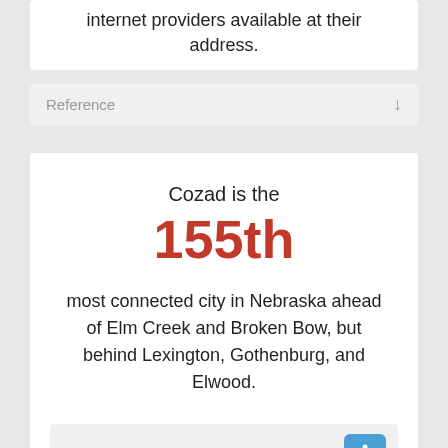internet providers available at their address.
Reference
Cozad is the 155th most connected city in Nebraska ahead of Elm Creek and Broken Bow, but behind Lexington, Gothenburg, and Elwood.
Reference